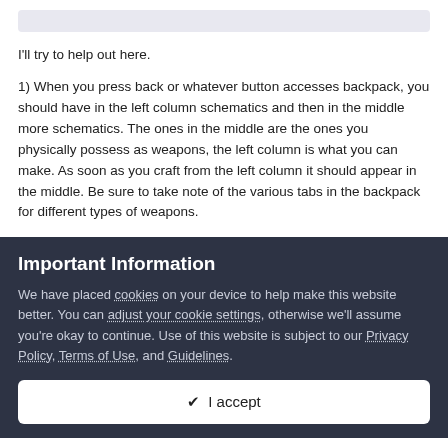I'll try to help out here.
1) When you press back or whatever button accesses backpack, you should have in the left column schematics and then in the middle more schematics. The ones in the middle are the ones you physically possess as weapons, the left column is what you can make. As soon as you craft from the left column it should appear in the middle. Be sure to take note of the various tabs in the backpack for different types of weapons.
Important Information
We have placed cookies on your device to help make this website better. You can adjust your cookie settings, otherwise we'll assume you're okay to continue. Use of this website is subject to our Privacy Policy, Terms of Use, and Guidelines.
✔ I accept